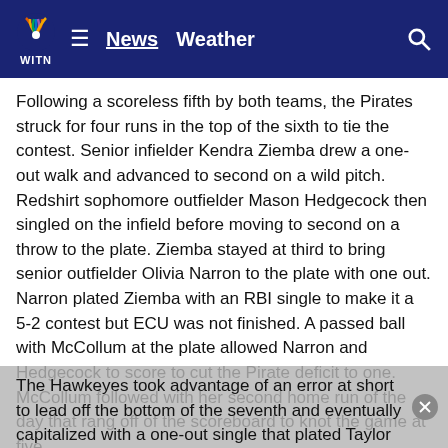WITN  ≡  News  Weather  🔍
Following a scoreless fifth by both teams, the Pirates struck for four runs in the top of the sixth to tie the contest. Senior infielder Kendra Ziemba drew a one-out walk and advanced to second on a wild pitch. Redshirt sophomore outfielder Mason Hedgecock then singled on the infield before moving to second on a throw to the plate. Ziemba stayed at third to bring senior outfielder Olivia Narron to the plate with one out. Narron plated Ziemba with an RBI single to make it a 5-2 contest but ECU was not finished. A passed ball with McCollum at the plate allowed Narron and Hedgecock to score to cut the Pirate deficit to one. McCollum followed with her second home run of the day that rang off of the scoreboard to knot the game at five.
The Hawkeyes took advantage of an error at short to lead off the bottom of the seventh and eventually capitalized with a one-out single that plated Taylor Ryan from third to